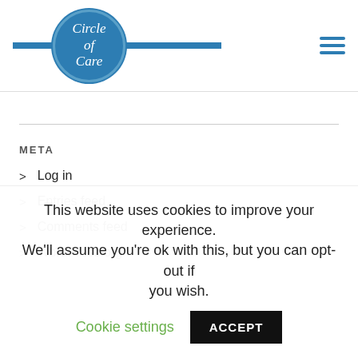[Figure (logo): Circle of Care logo with blue circle and horizontal blue bars on a white header background]
META
> Log in
> Entries feed
> Comments feed
> WordPress.org
This website uses cookies to improve your experience. We'll assume you're ok with this, but you can opt-out if you wish. Cookie settings ACCEPT